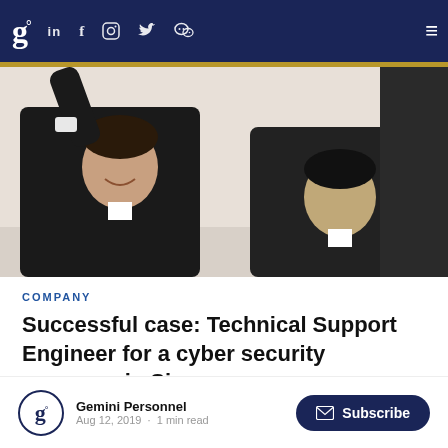g° in f [instagram] [twitter] [wechat] ≡
[Figure (photo): Two businessmen in suits raising their fists/arms in celebration or success gesture, viewed from below, light background]
COMPANY
Successful case: Technical Support Engineer for a cyber security company in Singapore
The client Our client is a Singapore-based cyber security company, specialising in digital forensics, that manufactures data extraction, transfer and analytical...
Gemini Personnel
Aug 12, 2019 · 1 min read